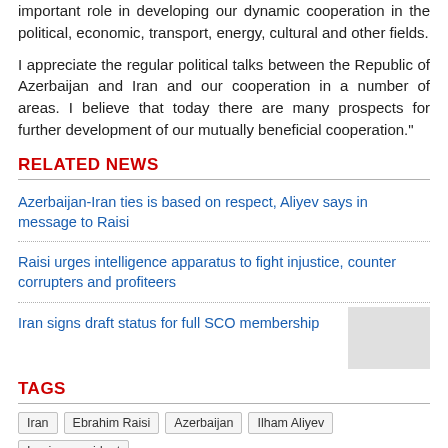important role in developing our dynamic cooperation in the political, economic, transport, energy, cultural and other fields.
I appreciate the regular political talks between the Republic of Azerbaijan and Iran and our cooperation in a number of areas. I believe that today there are many prospects for further development of our mutually beneficial cooperation."
RELATED NEWS
Azerbaijan-Iran ties is based on respect, Aliyev says in message to Raisi
Raisi urges intelligence apparatus to fight injustice, counter corrupters and profiteers
Iran signs draft status for full SCO membership
TAGS
Iran
Ebrahim Raisi
Azerbaijan
Ilham Aliyev
Iranian president